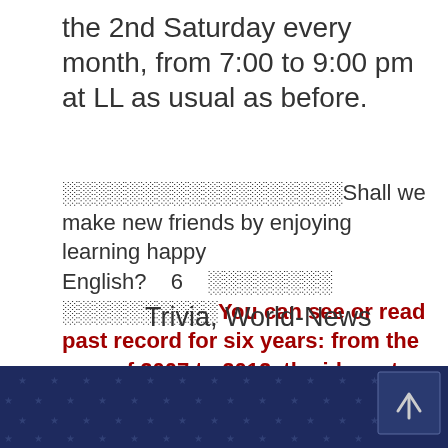the 2nd Saturday every month, from 7:00 to 9:00 pm at LL as usual as before.
░░░░░░░░░░░░░░░░░░Shall we make new friends by enjoying learning happy English?　6　░░░░░░░░ ░░░░░░░░░░You can see or read past record for six years: from the year of 2007 to 2012, the idea, etc by clicking   HERE:░░░░░░░░░░░░░░
Trivia, World-News
[Figure (other): Dark blue footer bar with repeating star pattern and a back-to-top button arrow in the bottom right corner]